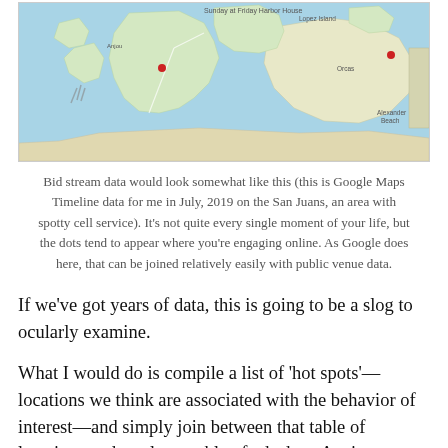[Figure (map): A Google Maps Timeline screenshot showing the San Juan Islands area in Washington State. The map shows water (blue), land masses (green/beige), and several red location dots marking visited spots. Labels visible include 'Sunday at Friday Harbor House' and other location names.]
Bid stream data would look somewhat like this (this is Google Maps Timeline data for me in July, 2019 on the San Juans, an area with spotty cell service). It's not quite every single moment of your life, but the dots tend to appear where you're engaging online. As Google does here, that can be joined relatively easily with public venue data.
If we've got years of data, this is going to be a slog to ocularly examine.
What I would do is compile a list of 'hot spots'—locations we think are associated with the behavior of interest—and simply join between that table of locations and our large table of ads data. Again,